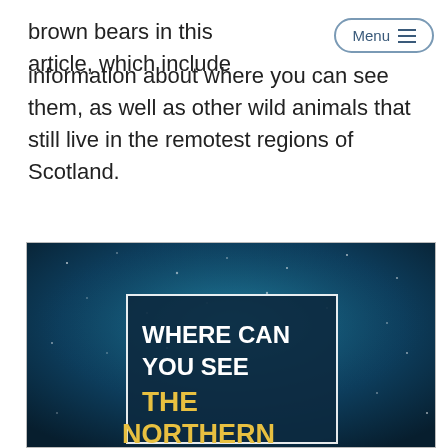brown bears in this article, which includes information about where you can see them, as well as other wild animals that still live in the remotest regions of Scotland.
[Figure (illustration): Book or article cover image with a dark blue starry night sky background. Contains a white-bordered dark navy box with bold white text reading 'WHERE CAN YOU SEE THE' and gold/yellow text below reading 'NORTHERN' (partially visible). The overall image is a promotional or educational graphic about where to see the northern lights.]